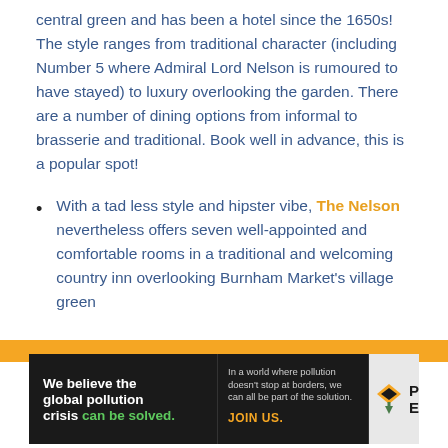central green and has been a hotel since the 1650s! The style ranges from traditional character (including Number 5 where Admiral Lord Nelson is rumoured to have stayed) to luxury overlooking the garden. There are a number of dining options from informal to brasserie and traditional. Book well in advance, this is a popular spot!
With a tad less style and hipster vibe, The Nelson nevertheless offers seven well-appointed and comfortable rooms in a traditional and welcoming country inn overlooking Burnham Market's village green
[Figure (other): Advertisement banner for Pure Earth: 'We believe the global pollution crisis can be solved.' with tagline 'In a world where pollution doesn't stop at borders, we can all be part of the solution. JOIN US.' and Pure Earth logo with diamond/leaf icon.]